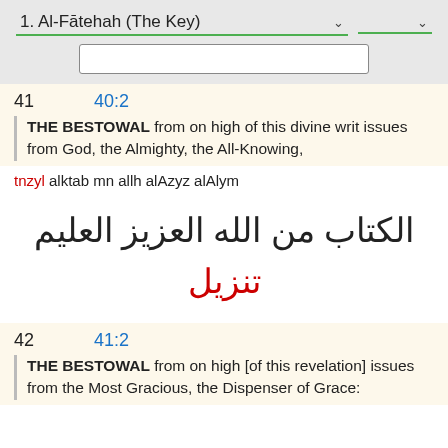1. Al-Fātehah (The Key)
41    40:2
THE BESTOWAL from on high of this divine writ issues from God, the Almighty, the All-Knowing,
tnzyl alktab mn allh alAzyz alAlym
تنزيل الكتاب من الله العزيز العليم
42    41:2
THE BESTOWAL from on high [of this revelation] issues from the Most Gracious, the Dispenser of Grace: